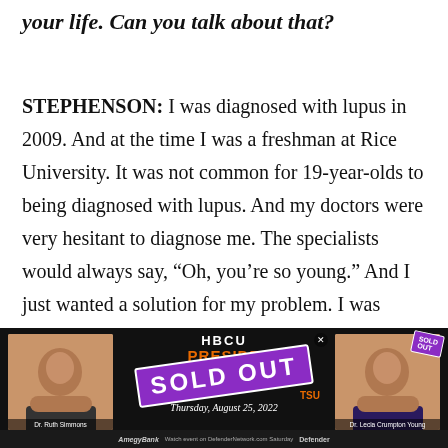your life. Can you talk about that?
STEPHENSON: I was diagnosed with lupus in 2009. And at the time I was a freshman at Rice University. It was not common for 19-year-olds to being diagnosed with lupus. And my doctors were very hesitant to diagnose me. The specialists would always say, “Oh, you’re so young.” And I just wanted a solution for my problem. I was waking up and all my joints would be swollen. It was hard to walk. It was hard to hold things. Luckily, I had all of the
[Figure (advertisement): HBCU Presidents advertisement banner showing 'SOLD OUT' stamp in purple, with two women's photos (Dr. Ruth Simmons and Dr. Lecia Crumpton Young), date Thursday August 25 2022, and Defender/AmegyBank branding at bottom]